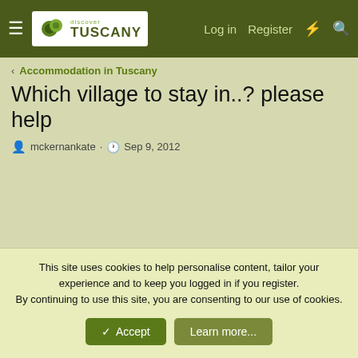Discover Tuscany — Log in  Register
< Accommodation in Tuscany
Which village to stay in..? please help
mckernankate · Sep 9, 2012
This site uses cookies to help personalise content, tailor your experience and to keep you logged in if you register.
By continuing to use this site, you are consenting to our use of cookies.
✓ Accept    Learn more...